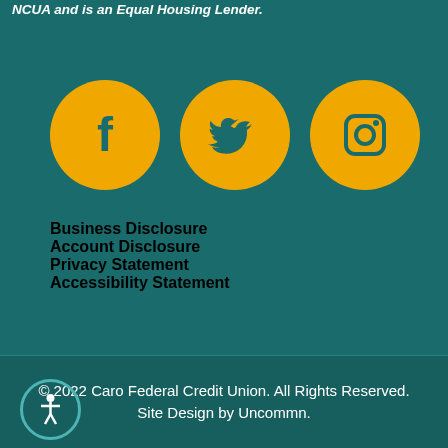NCUA and is an Equal Housing Lender.
[Figure (illustration): Three social media icons (Facebook, Twitter, Instagram) as yellow/gold circles on teal background]
Business Disclosure
Account Disclosure
Privacy Statement
Accessibility Statement
© 2022 Caro Federal Credit Union. All Rights Reserved. Site Design by Uncommn.